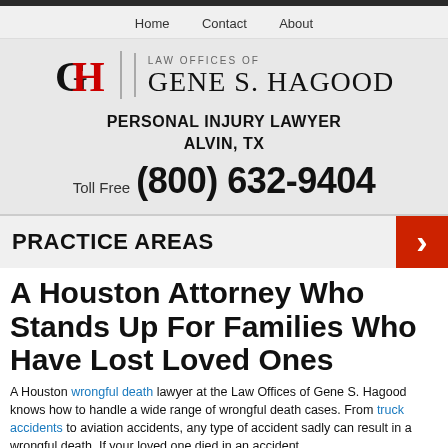Home   Contact   About
[Figure (logo): Law Offices of Gene S. Hagood logo with stylized GH monogram in black and red, separated by a vertical line from the firm name text]
PERSONAL INJURY LAWYER
ALVIN, TX
Toll Free (800) 632-9404
PRACTICE AREAS
A Houston Attorney Who Stands Up For Families Who Have Lost Loved Ones
A Houston wrongful death lawyer at the Law Offices of Gene S. Hagood knows how to handle a wide range of wrongful death cases. From truck accidents to aviation accidents, any type of accident sadly can result in a wrongful death. If your loved one died in an accident